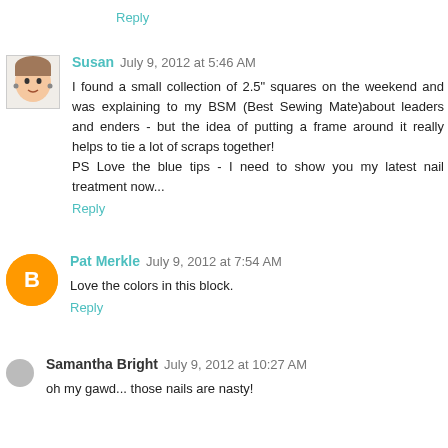Reply
[Figure (illustration): Small avatar of Susan, a drawn cartoon face of a woman with short hair and earrings]
Susan July 9, 2012 at 5:46 AM
I found a small collection of 2.5" squares on the weekend and was explaining to my BSM (Best Sewing Mate)about leaders and enders - but the idea of putting a frame around it really helps to tie a lot of scraps together!
PS Love the blue tips - I need to show you my latest nail treatment now...
Reply
[Figure (illustration): Orange circle avatar with white B letter for Pat Merkle (Blogger icon)]
Pat Merkle July 9, 2012 at 7:54 AM
Love the colors in this block.
Reply
[Figure (illustration): Small grey dot avatar for Samantha Bright]
Samantha Bright July 9, 2012 at 10:27 AM
oh my gawd... those nails are nasty!